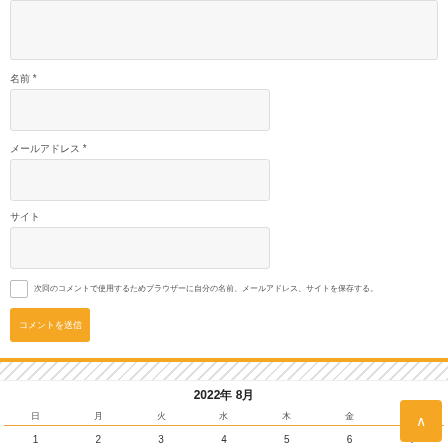コメント *
名前 *
メールアドレス *
サイト
次回のコメントで使用するためブラウザーに自分の名前、メールアドレス、サイトを保存する。
コメントを送信
2022年 8月
| 日 | 月 | 火 | 水 | 木 | 金 | 土 |
| --- | --- | --- | --- | --- | --- | --- |
| 1 | 2 | 3 | 4 | 5 | 6 | 7 |